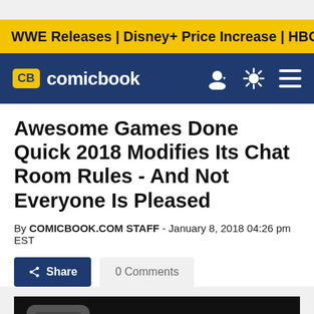WWE Releases | Disney+ Price Increase | HBO's The Last of
CB comicbook
Awesome Games Done Quick 2018 Modifies Its Chat Room Rules - And Not Everyone Is Pleased
By COMICBOOK.COM STAFF - January 8, 2018 04:26 pm EST
Share  0 Comments
[Figure (photo): Games Done logo image with white bold text on black background showing 'GAMES DONE' with a game controller icon]